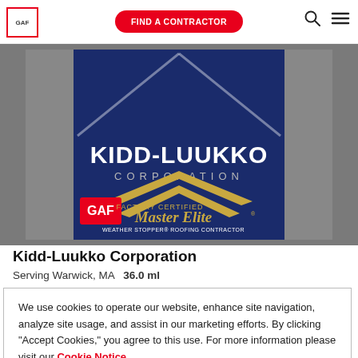GAF | FIND A CONTRACTOR
[Figure (logo): Kidd-Luukko Corporation logo: blue roof shape, company name in white/silver, GAF Master Elite Factory Certified Weather Stopper Roofing Contractor badge]
Kidd-Luukko Corporation
Serving Warwick, MA   36.0 ml
We use cookies to operate our website, enhance site navigation, analyze site usage, and assist in our marketing efforts. By clicking "Accept Cookies," you agree to this use. For more information please visit our Cookie Notice.
Cookie Preferences | Accept Cookies